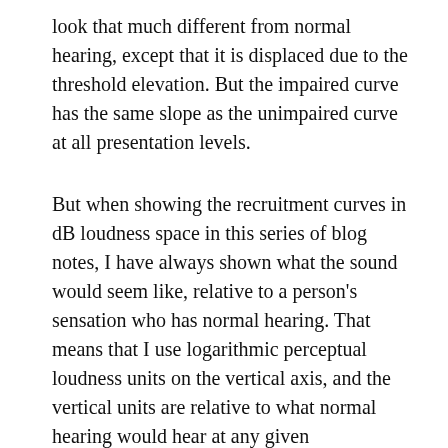look that much different from normal hearing, except that it is displaced due to the threshold elevation. But the impaired curve has the same slope as the unimpaired curve at all presentation levels.
But when showing the recruitment curves in dB loudness space in this series of blog notes, I have always shown what the sound would seem like, relative to a person's sensation who has normal hearing. That means that I use logarithmic perceptual loudness units on the vertical axis, and the vertical units are relative to what normal hearing would hear at any given presentation level.